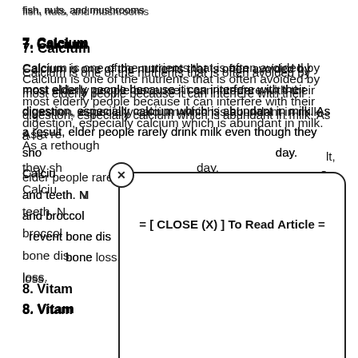fish, nuts, and mushrooms
7. Calcium
Calcium is one of the nutrients that is often avoided by most elderly people because it can interfere with their digestion, especially calcium which is abundant in milk. As a result, elder people rarely drink milk even though they should consume at least 1,000 mg of calcium a day. Calcium is an essential nutrient needed for healthy bones and teeth. Milk, yogurt, sardines, salmon, kale, cheese, and broccoli are excellent sources of calcium that can help prevent bone diseases. Calcium consumption can help prevent bone loss.
8. Vitamin D